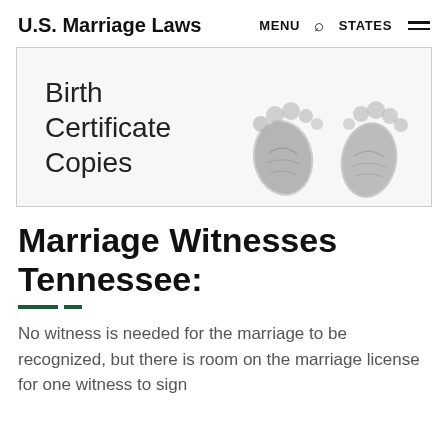U.S. Marriage Laws  MENU  🔍  STATES  ≡
[Figure (illustration): Banner with text 'Birth Certificate Copies' on the left and two baby footprints (ink stamps) on the right, on a light grey background with a border.]
Marriage Witnesses Tennessee:
No witness is needed for the marriage to be recognized, but there is room on the marriage license for one witness to sign